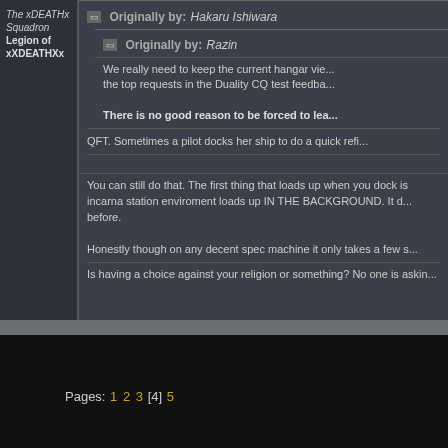The xDEATHx Squadron
Legion of xXDEATHXx
Originally by: Hakaru Ishiwara
Originally by: Razin
We really need to keep the current hangar view... the top requests in the Duality CQ test feedba...
There is no good reason to be forced to lea...
QFT. Sometimes a pilot docks her ship to do a quick refi...
You can still do that. The first thing that loads up when you dock is incarna station enviroment loads up IN THE BACKGROUND. It d... before.
Honestly though on any decent spec machine it only takes a few s...
Is having a choice against your religion or something? No one is askin...
Pages: 1 2 3 [4] 5